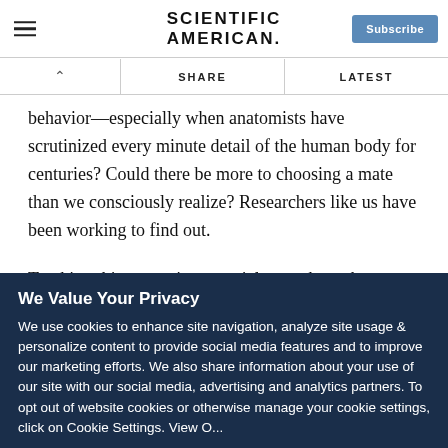SCIENTIFIC AMERICAN
behavior—especially when anatomists have scrutinized every minute detail of the human body for centuries? Could there be more to choosing a mate than we consciously realize? Researchers like us have been working to find out.
Tracking this mysterious cranial nerve brought me to the pilot whale, as a model for understanding our fellow mammals. For reasons that I will explain, it was particularly important to find
We Value Your Privacy
We use cookies to enhance site navigation, analyze site usage & personalize content to provide social media features and to improve our marketing efforts. We also share information about your use of our site with our social media, advertising and analytics partners. To opt out of website cookies or otherwise manage your cookie settings, click on Cookie Settings. View O...